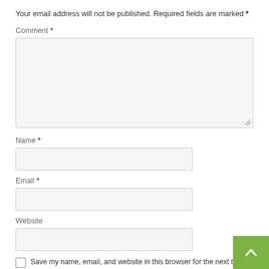Your email address will not be published. Required fields are marked *
Comment *
[Figure (other): Comment textarea input field with resize handle]
Name *
[Figure (other): Name text input field]
Email *
[Figure (other): Email text input field]
Website
[Figure (other): Website text input field]
Save my name, email, and website in this browser for the next time I comment.
[Figure (other): Green back-to-top button with upward chevron arrow]